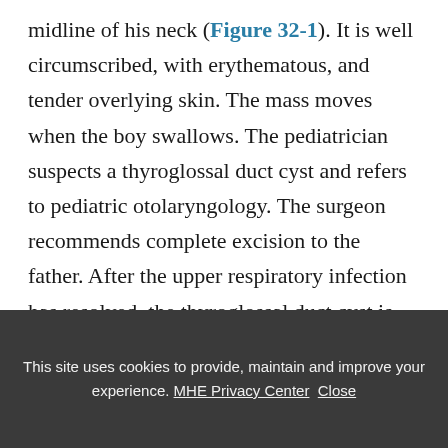midline of his neck (Figure 32-1). It is well circumscribed, with erythematous, and tender overlying skin. The mass moves when the boy swallows. The pediatrician suspects a thyroglossal duct cyst and refers to pediatric otolaryngology. The surgeon recommends complete excision to the father. After the upper respiratory infection has resolved, the thyroglossal duct cyst is removed completely under general anesthesia with no complications. The boy
This site uses cookies to provide, maintain and improve your experience. MHE Privacy Center  Close